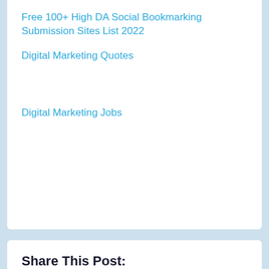Free 100+ High DA Social Bookmarking Submission Sites List 2022
Digital Marketing Quotes
Digital Marketing Jobs
Share This Post: